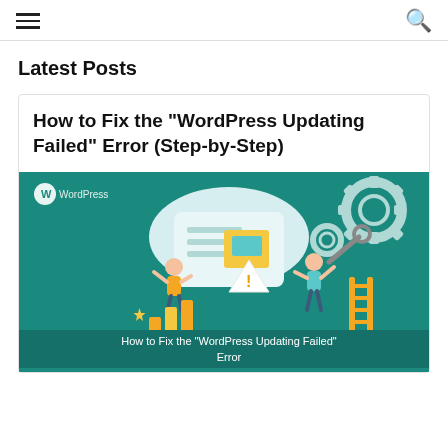Navigation header with hamburger menu and search icon
Latest Posts
How to Fix the “WordPress Updating Failed” Error (Step-by-Step)
[Figure (illustration): Teal background illustration showing people fixing a WordPress error with a warning triangle, gear icons, wrench, and text 'How to Fix the “WordPress Updating Failed” Error' with WordPress logo in top left]